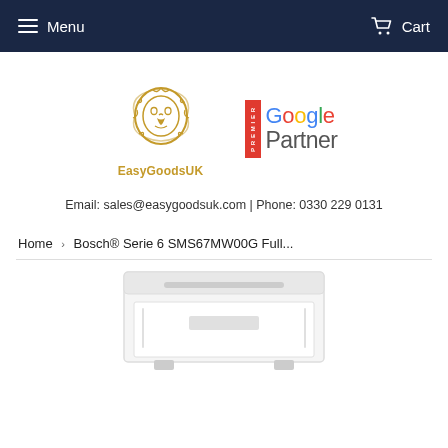Menu  Cart
[Figure (logo): EasyGoodsUK lion logo with brand name 'EasyGoodsUK' below in gold]
[Figure (logo): Google Premier Partner badge: red vertical 'PREMIER' strip beside 'Google Partner' text in Google colors]
Email: sales@easygoodsuk.com | Phone: 0330 229 0131
Home  >  Bosch® Serie 6 SMS67MW00G Full...
[Figure (photo): Partial view of a white Bosch dishwasher product image at the bottom of the page]